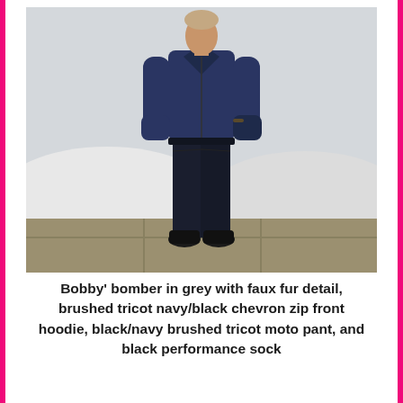[Figure (photo): A man standing facing the camera, wearing a navy zip-up hoodie and dark navy/black slim moto pants with black boots. He has his hands in his pockets. The background is light grey/white with what appears to be a modern curved white structure behind him.]
Bobby' bomber in grey with faux fur detail, brushed tricot navy/black chevron zip front hoodie, black/navy brushed tricot moto pant, and black performance sock